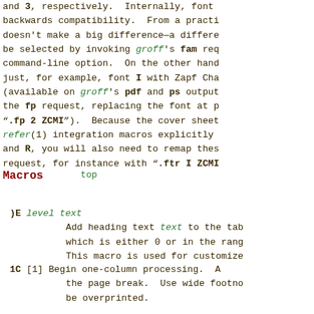and 3, respectively.  Internally, font backwards compatibility.  From a practi doesn't make a big difference—a differe be selected by invoking groff's fam req command-line option.  On the other hand just, for example, font I with Zapf Cha (available on groff's pdf and ps output the fp request, replacing the font at p ".fp 2 ZCMI").  Because the cover sheet refer(1) integration macros explicitly and R, you will also need to remap thes request, for instance with ".ftr I ZCMI
Macros
)E level text
   Add heading text text to the tab which is either 0 or in the rang This macro is used for customize
1C [1] Begin one-column processing.  A the page break.  Use wide footno be overprinted.